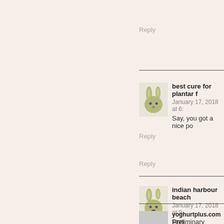Reply
best cure for plantar f
January 17, 2018 at 6:
Say, you got a nice po
Reply
indian harbour beach
January 17, 2018 at 9:
Preliminary writing ar
Reply
yoghurtplus.com says